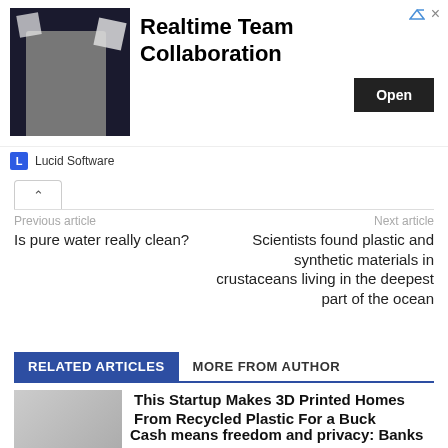[Figure (screenshot): Advertisement banner for Lucid Software - Realtime Team Collaboration app with Open button]
Previous article
Next article
Is pure water really clean?
Scientists found plastic and synthetic materials in crustaceans living in the deepest part of the ocean
RELATED ARTICLES
MORE FROM AUTHOR
[Figure (photo): Thumbnail image of a house/building for the 3D printed homes article]
This Startup Makes 3D Printed Homes From Recycled Plastic For a Buck
Cash means freedom and privacy: Banks